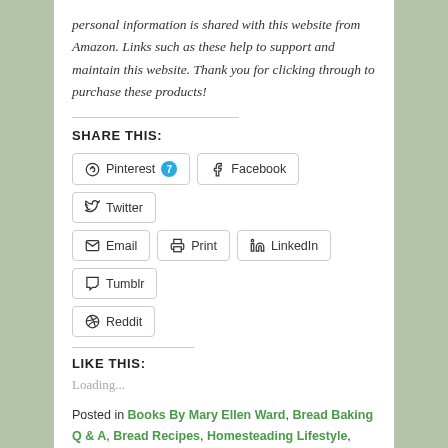personal information is shared with this website from Amazon. Links such as these help to support and maintain this website. Thank you for clicking through to purchase these products!
SHARE THIS:
Pinterest 7 | Facebook | Twitter | Email | Print | LinkedIn | Tumblr | Reddit
LIKE THIS:
Loading...
Posted in Books By Mary Ellen Ward, Bread Baking Q & A, Bread Recipes, Homesteading Lifestyle, Making Homesteading Work, Uncategorized | Tagged best no-knead bread, chocolate cherry no-knead bread recipe, easy homemade bread, no knead bread recipe, no-knead bread, no-knead bread recipes